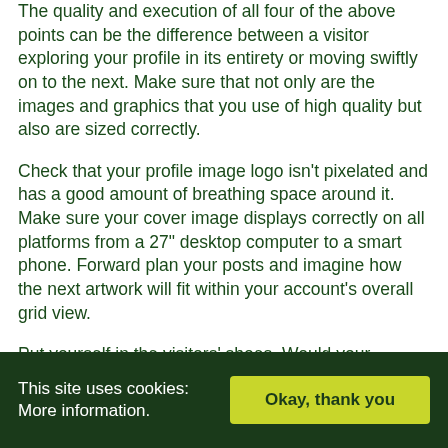The quality and execution of all four of the above points can be the difference between a visitor exploring your profile in its entirety or moving swiftly on to the next. Make sure that not only are the images and graphics that you use of high quality but also are sized correctly.
Check that your profile image logo isn't pixelated and has a good amount of breathing space around it. Make sure your cover image displays correctly on all platforms from a 27" desktop computer to a smart phone. Forward plan your posts and imagine how the next artwork will fit within your account's overall grid view.
Put yourself in the visitors' shoes. Would your account be somewhere you would be enticed to visit?
These are just a handful of tips that can make a big difference to your brand's social media through visually engaging elements. The key to building a successful
This site uses cookies: More information. [Okay, thank you]